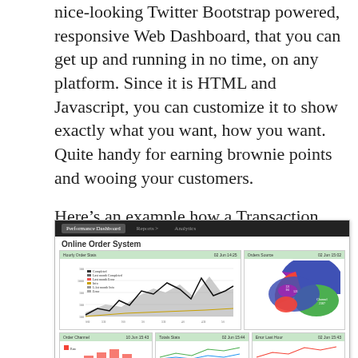nice-looking Twitter Bootstrap powered, responsive Web Dashboard, that you can get up and running in no time, on any platform. Since it is HTML and Javascript, you can customize it to show exactly what you want, how you want. Quite handy for earning brownie points and wooing your customers.
Here's an example how a Transaction Dashboard may look like:
[Figure (screenshot): Screenshot of a web dashboard called 'Online Order System' showing a Performance Dashboard with multiple charts: a line/area chart labeled 'Hourly Order Stats' on the left and a pie chart labeled 'Orders Source' on the right, plus a bottom row with additional smaller charts labeled 'Order Channel', 'Totals Stats', and 'Error Last Hour'.]